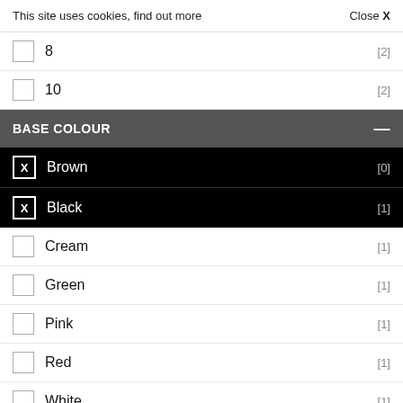This site uses cookies, find out more   Close X
8   [2]
10   [2]
BASE COLOUR  —
X  Brown   [0]
X  Black   [1]
Cream   [1]
Green   [1]
Pink   [1]
Red   [1]
White   [1]
REFINE
CLEAR ALL